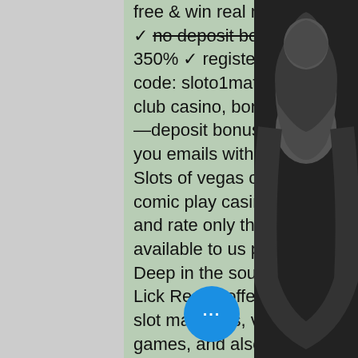free & win real money. Welcome to hallmark casino. We offer ✓ no deposit bonus of $100 and welcome deposit bonus of 350% ✓ register now and win real money. Sloto cash, bonus code: sloto1match, $7777 bonus + 300 free spins ; platinum club casino, bonus code:. The casinos that will give you a no—deposit bonus will only do this one time. Even if they send you emails with a new bonus code they won't honor the offer. Slots of vegas casino · planet 7 casino · casino extreme · comic play casino · highway casino. Apr 7, 2022 we review and rate only the most trusted and reputable online casinos available to us players at online casino usa bonus
Deep in the southern hills of Indiana, the beautiful French Lick Resort offers a 9,500-square-foot gaming center with slot machines, video poker, keno, live deal... classic table games, and also high-limit tables. The resort boasts two massive hotels
[Figure (photo): Black and white photo of a person with head tilted back, dark hair visible, on dark background]